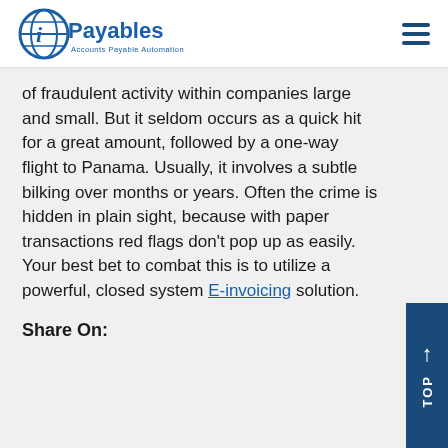iPayables Accounts Payable Automation
of fraudulent activity within companies large and small. But it seldom occurs as a quick hit for a great amount, followed by a one-way flight to Panama. Usually, it involves a subtle bilking over months or years. Often the crime is hidden in plain sight, because with paper transactions red flags don't pop up as easily. Your best bet to combat this is to utilize a powerful, closed system E-invoicing solution.
Share On: